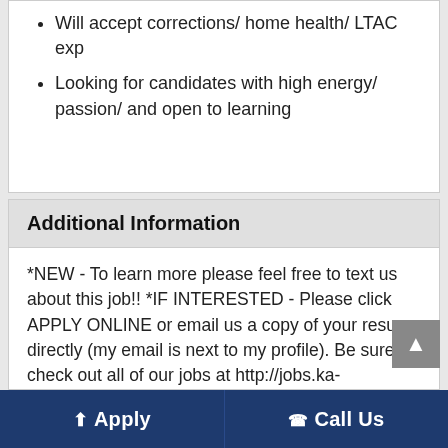Will accept corrections/ home health/ LTAC exp
Looking for candidates with high energy/ passion/ and open to learning
Additional Information
*NEW - To learn more please feel free to text us about this job!! *IF INTERESTED - Please click APPLY ONLINE or email us a copy of your resume directly (my email is next to my profile). Be sure to check out all of our jobs at http://jobs.ka-recruiting.com. We look forward to working with you!
Apply   Call Us